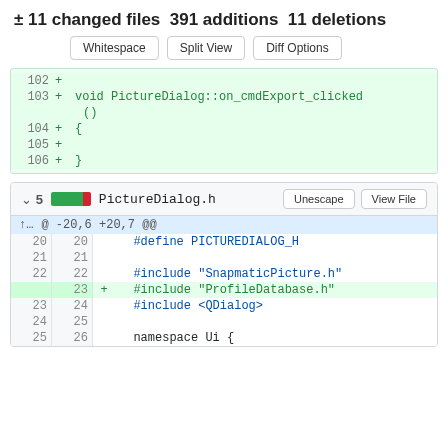± 11 changed files 391 additions 11 deletions
[Figure (screenshot): GitHub diff view showing code changes: buttons for Whitespace, Split View, Diff Options. Code diff showing lines 102-106 added (void PictureDialog::on_cmdExport_clicked(){}). File section for PictureDialog.h showing 5 changes with Unescape and View File buttons. Diff hunk @ -20,6 +20,7 @@ showing lines 20-26 with added #include 'ProfileDatabase.h' on line 23.]